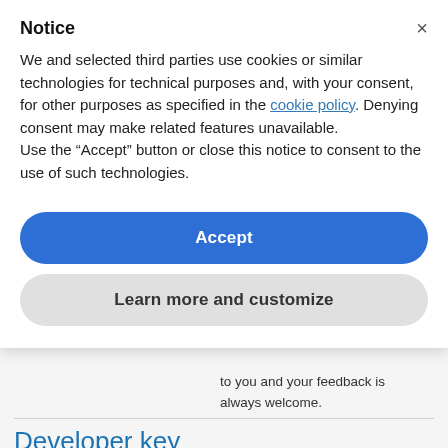Notice
We and selected third parties use cookies or similar technologies for technical purposes and, with your consent, for other purposes as specified in the cookie policy. Denying consent may make related features unavailable.
Use the “Accept” button or close this notice to consent to the use of such technologies.
Accept
Learn more and customize
to you and your feedback is always welcome.
Developer key
A developer key (or API key) is used to identify you as a developer.